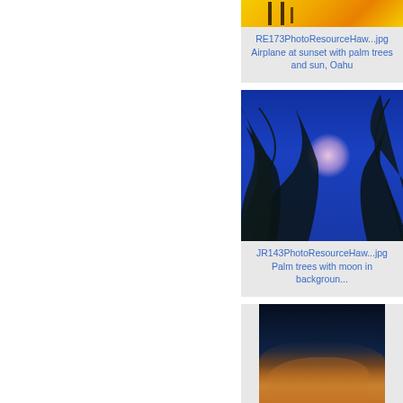[Figure (photo): Airplane at sunset with palm trees and sun, Oahu - partial top of image showing yellow/golden sky with dark silhouettes]
RE173PhotoResourceHaw...jpg
Airplane at sunset with palm trees and sun, Oahu
[Figure (photo): Palm trees with moon in background - silhouetted palm fronds against deep blue sky with glowing moon]
JR143PhotoResourceHaw...jpg
Palm trees with moon in background
[Figure (photo): Clouds against dark blue sky with golden light - partially visible at bottom of page]